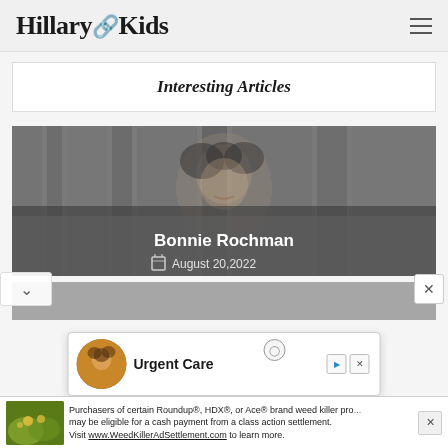Hillary Kids
Interesting Articles
[Figure (photo): Portrait photo of a smiling woman with curly hair against a wooden background, with overlay text 'Bonnie Rochman' and date 'August 20, 2022']
[Figure (photo): Partially visible second article card image]
[Figure (screenshot): Modal advertisement with person avatar and 'Urgent Care' text]
Purchasers of certain Roundup®, HDX®, or Ace® brand weed killer products may be eligible for a cash payment from a class action settlement. Visit www.WeedKillerAdSettlement.com to learn more.